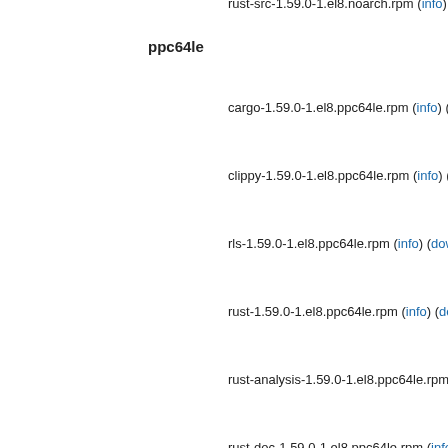rust-src-1.59.0-1.el8.noarch.rpm (info) (dow...
ppc64le
cargo-1.59.0-1.el8.ppc64le.rpm (info) (dow...
clippy-1.59.0-1.el8.ppc64le.rpm (info) (dow...
rls-1.59.0-1.el8.ppc64le.rpm (info) (downlo...
rust-1.59.0-1.el8.ppc64le.rpm (info) (downl...
rust-analysis-1.59.0-1.el8.ppc64le.rpm (inf...
rust-doc-1.59.0-1.el8.ppc64le.rpm (info) (d...
rust-std-static-1.59.0-1.el8.ppc64le.rpm (in...
rust-std-static-wasm32-unknown-unknown...
rust-std-static-wasm32-wasi-1.59.0-1.el8.p...
rustfmt-1.59.0-1.el8.ppc64le.rpm (info) (do...
cargo-debuginfo-1.59.0-1.el8.ppc64le.rpm...
clippy-debuginfo-1.59.0-1.el8.ppc64le.rpm...
rls-debuginfo-1.59.0-1.el8.ppc64le.rpm (inf...
rust-debuginfo-1.59.0-1.el8.ppc64le.rpm (i...
rust-debugsource-1.59.0-1.el8.ppc64le.rpm...